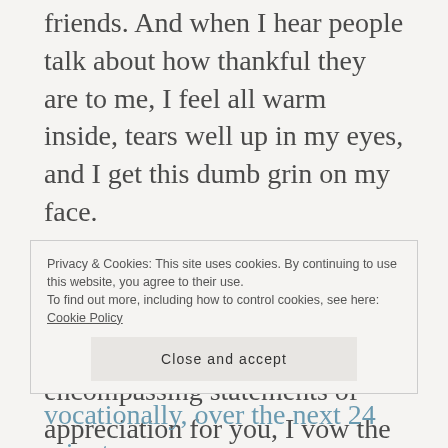friends. And when I hear people talk about how thankful they are to me, I feel all warm inside, tears well up in my eyes, and I get this dumb grin on my face.
So, here’s to you and that dumb grin you’re about to have, best friend. Rather than vague, all-encompassing statements of appreciation for you, I vow the following specific things to you and to us:
Privacy & Cookies: This site uses cookies. By continuing to use this website, you agree to their use.
To find out more, including how to control cookies, see here: Cookie Policy
Close and accept
…vocationally, over the next 24 minutes…